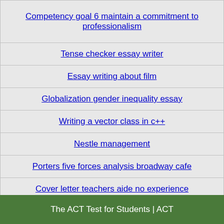Competency goal 6 maintain a commitment to professionalism
Tense checker essay writer
Essay writing about film
Globalization gender inequality essay
Writing a vector class in c++
Nestle management
Porters five forces analysis broadway cafe
Cover letter teachers aide no experience
Confucius vs taoism
The ACT Test for Students | ACT